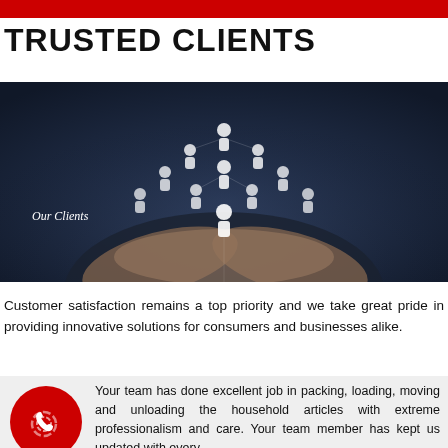TRUSTED CLIENTS
[Figure (photo): A person in a dark suit with cupped hands holding floating white icons of people arranged in a network/hierarchy, labeled 'Our Clients']
Customer satisfaction remains a top priority and we take great pride in providing innovative solutions for consumers and businesses alike.
Your team has done excellent job in packing, loading, moving and unloading the household articles with extreme professionalism and care. Your team member has kept us updated with every...